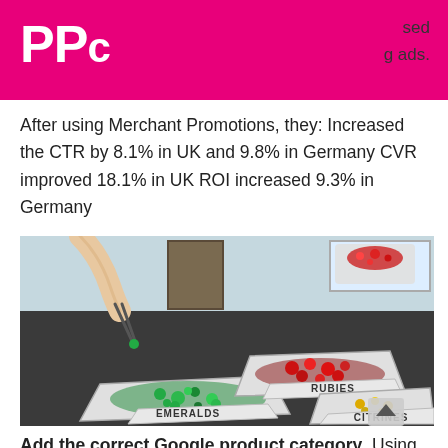PPC
sed g ads.
After using Merchant Promotions, they: Increased the CTR by 8.1% in UK and 9.8% in Germany CVR improved 18.1% in UK ROI increased 9.3% in Germany
[Figure (illustration): Animated illustration showing a hand using tweezers to sort gemstones into trays labeled EMERALDS, RUBIES, and CITRINES on a dark table]
Add the correct Google product category. Using the correct product category is another way to tell Google